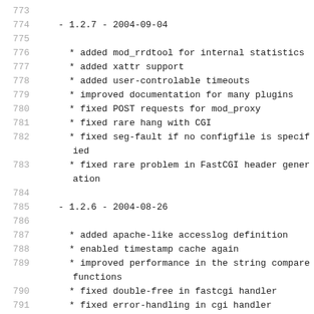773
774    - 1.2.7 - 2004-09-04
775
776        * added mod_rrdtool for internal statistics
777        * added xattr support
778        * added user-controlable timeouts
779        * improved documentation for many plugins
780        * fixed POST requests for mod_proxy
781        * fixed rare hang with CGI
782        * fixed seg-fault if no configfile is specified
783        * fixed rare problem in FastCGI header generation
784
785    - 1.2.6 - 2004-08-26
786
787        * added apache-like accesslog definition
788        * enabled timestamp cache again
789        * improved performance in the string compare functions
790        * fixed double-free in fastcgi handler
791        * fixed error-handling in cgi handler
792